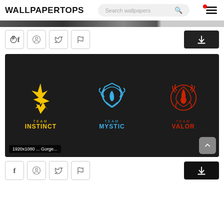WALLPAPERTOPS
[Figure (screenshot): Website header with WALLPAPERTOPS logo, search bar, and hamburger menu with red dot]
[Figure (illustration): Pokemon GO team logos: Team Instinct (yellow Zapdos), Team Mystic (blue Articuno), Team Valor (red Moltres) on dark background]
1920x1080 ... Gorge...